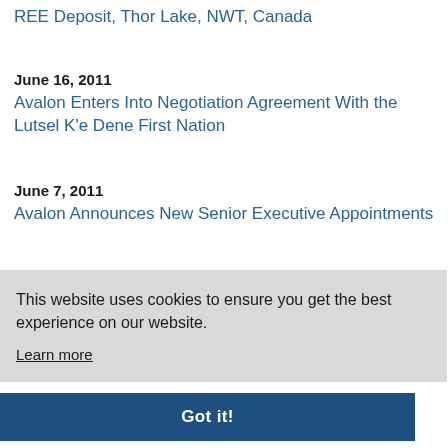REE Deposit, Thor Lake, NWT, Canada
June 16, 2011
Avalon Enters Into Negotiation Agreement With the Lutsel K'e Dene First Nation
June 7, 2011
Avalon Announces New Senior Executive Appointments
This website uses cookies to ensure you get the best experience on our website.
Learn more
Got it!
Avalon Files Preliminary Base Shelf Prospectus and US...